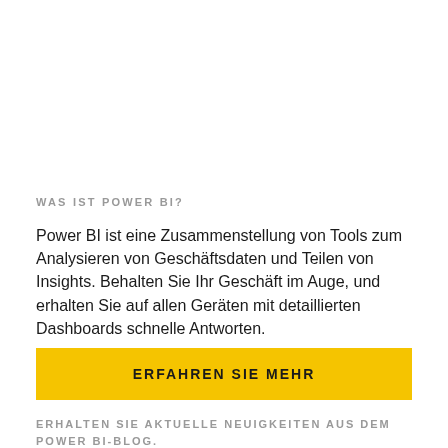WAS IST POWER BI?
Power BI ist eine Zusammenstellung von Tools zum Analysieren von Geschäftsdaten und Teilen von Insights. Behalten Sie Ihr Geschäft im Auge, und erhalten Sie auf allen Geräten mit detaillierten Dashboards schnelle Antworten.
ERFAHREN SIE MEHR
ERHALTEN SIE AKTUELLE NEUIGKEITEN AUS DEM POWER BI-BLOG.